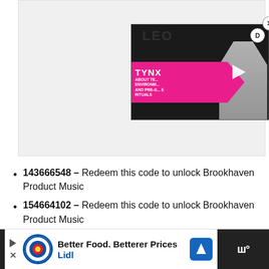[Figure (screenshot): A video thumbnail overlay showing a sports/athletics person with a pink banner reading TYNX ABOUT TE... ENVIRONM... AND PRE-G... RITUALS with a play button. Close button (X) in circle at top right. D logo circle at top right of video. Background text LEO.]
143666548 – Redeem this code to unlock Brookhaven Product Music
154664102 – Redeem this code to unlock Brookhaven Product Music
[Figure (screenshot): Advertisement banner for Lidl: Better Food. Betterer Prices / Lidl. Shows Lidl logo, blue navigation arrow icon, and sound wave icon on dark right section.]